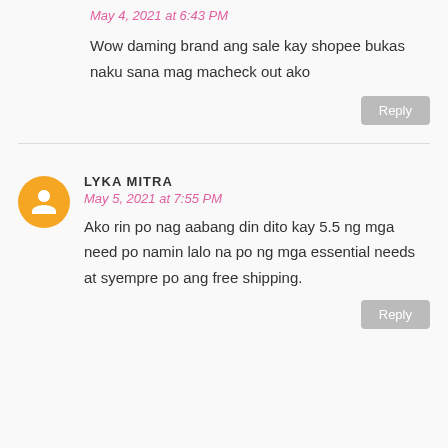May 4, 2021 at 6:43 PM
Wow daming brand ang sale kay shopee bukas naku sana mag macheck out ako
LYKA MITRA
May 5, 2021 at 7:55 PM
Ako rin po nag aabang din dito kay 5.5 ng mga need po namin lalo na po ng mga essential needs at syempre po ang free shipping.